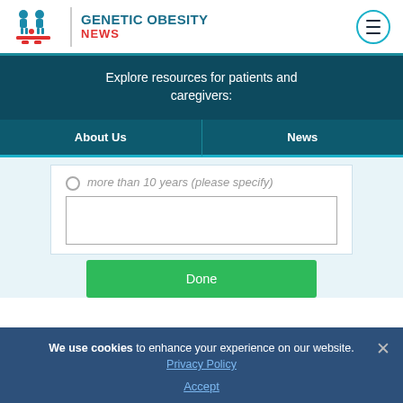GENETIC OBESITY NEWS
Explore resources for patients and caregivers:
About Us | News
more than 10 years (please specify)
Done
We use cookies to enhance your experience on our website. Privacy Policy Accept